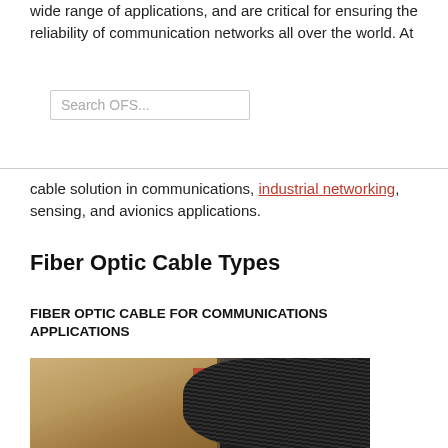wide range of applications, and are critical for ensuring the reliability of communication networks all over the world. At
[Figure (screenshot): Search box with placeholder text 'Search OFS...']
cable solution in communications, industrial networking, sensing, and avionics applications.
Fiber Optic Cable Types
FIBER OPTIC CABLE FOR COMMUNICATIONS APPLICATIONS
[Figure (photo): Photo of fiber optic cable coiled on a wooden spool, showing black tightly wound cables against a wood background with a red element visible in the background.]